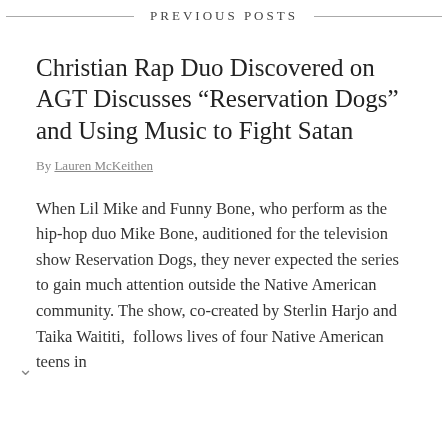— PREVIOUS POSTS —
Christian Rap Duo Discovered on AGT Discusses “Reservation Dogs” and Using Music to Fight Satan
By Lauren McKeithen
When Lil Mike and Funny Bone, who perform as the hip-hop duo Mike Bone, auditioned for the television show Reservation Dogs, they never expected the series to gain much attention outside the Native American community. The show, co-created by Sterlin Harjo and Taika Waititi, follows lives of four Native American teens in